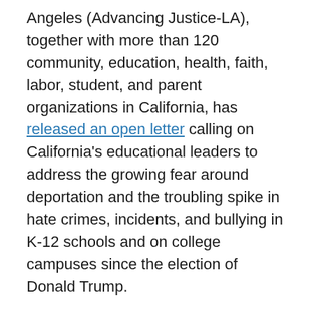Angeles (Advancing Justice-LA), together with more than 120 community, education, health, faith, labor, student, and parent organizations in California, has released an open letter calling on California's educational leaders to address the growing fear around deportation and the troubling spike in hate crimes, incidents, and bullying in K-12 schools and on college campuses since the election of Donald Trump.
Coordinated by the College for All Coalition, the open letter calls for safe, inclusive, and equitable learning environments for California students, especially those who are most vulnerable.
The President-elect campaigned on a promise to deport undocumented immigrants and, since election day, has stated that his Administration will seek to deport more than million individuals, a position intensified...